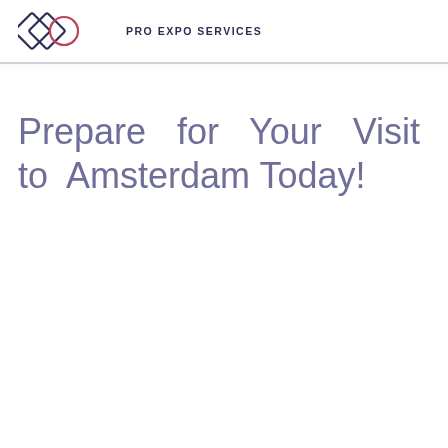PRO EXPO SERVICES
Prepare for Your Visit to Amsterdam Today!